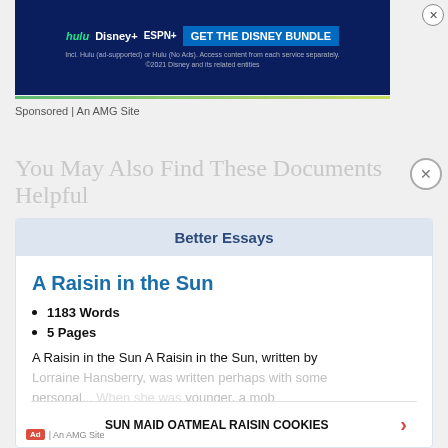[Figure (screenshot): Disney Bundle advertisement banner with Hulu, Disney+, ESPN+ logos and 'GET THE DISNEY BUNDLE' button on dark blue background]
Sponsored | An AMG Site
You May Also Find These Documents Helpful
Better Essays
A Raisin in the Sun
1183 Words
5 Pages
A Raisin in the Sun A Raisin in the Sun, written by Lorraine Hansberry, was written perhaps with some personal... When she was younger, a mob surrounding her home in a white middle class neighborhood and threw a brick in her window. (Literature
SUN MAID OATMEAL RAISIN COOKIES